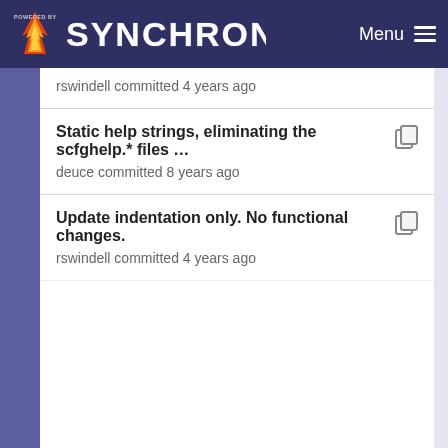POWERED BY SYNCHRONET  Menu
rswindell committed 4 years ago
Static help strings, eliminating the scfghelp.* files …  deuce committed 8 years ago
Update indentation only. No functional changes.  rswindell committed 4 years ago